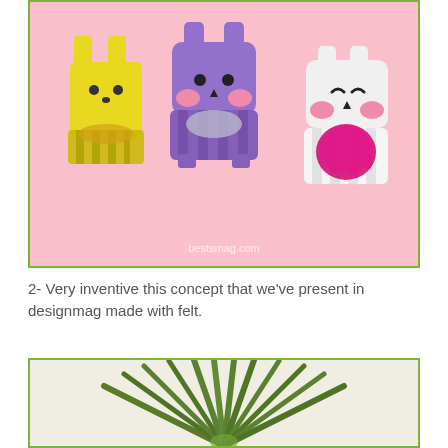[Figure (photo): Three felt animal-shaped Easter egg holders on a pink background. Yellow cat/rabbit on the left, purple cat in the center, and white cat on the right. Each holds a decorative Easter egg. Watermark reads bestsmag.com.]
2- Very inventive this concept that we've present in designmag made with felt.
[Figure (photo): A tillandsia (air plant) with long green spiky leaves fanning out, placed on a light beige/cream background.]